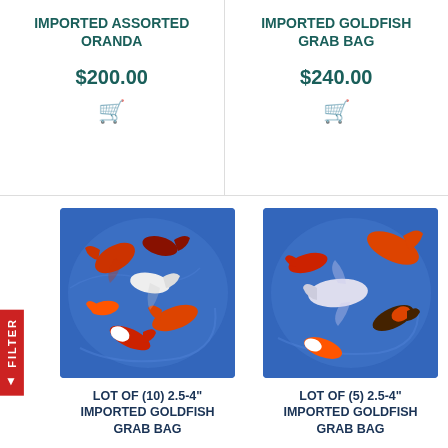IMPORTED ASSORTED ORANDA
$200.00
IMPORTED GOLDFISH GRAB BAG
$240.00
[Figure (photo): Blue tub with multiple orange/red/white ornamental goldfish viewed from above]
LOT OF (10) 2.5-4” IMPORTED GOLDFISH GRAB BAG
[Figure (photo): Blue tub with multiple orange/red/white ornamental goldfish viewed from above]
LOT OF (5) 2.5-4” IMPORTED GOLDFISH GRAB BAG